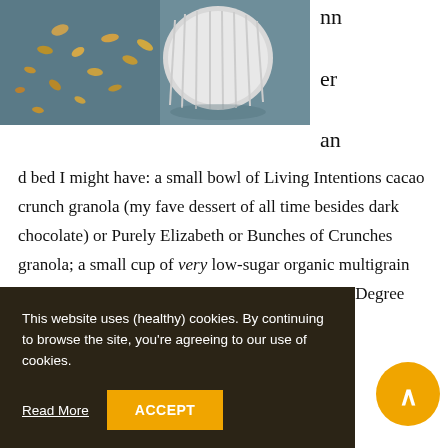[Figure (photo): Overhead photo of granola scattered around a white ribbed ceramic bowl on a dark blue-grey surface]
nn

er

an
d bed I might have: a small bowl of Living Intentions cacao crunch granola (my fave dessert of all time besides dark chocolate) or Purely Elizabeth or Bunches of Crunches granola; a small cup of very low-sugar organic multigrain cereal (like Nature's Path Heritage Flakes or One Degree Organics Veganic Sprouted
a almond butter; a thios; or a ometimes rs or ener balls with nut butter, almond flour, chocolate chips,
This website uses (healthy) cookies. By continuing to browse the site, you're agreeing to our use of cookies.
Read More  ACCEPT